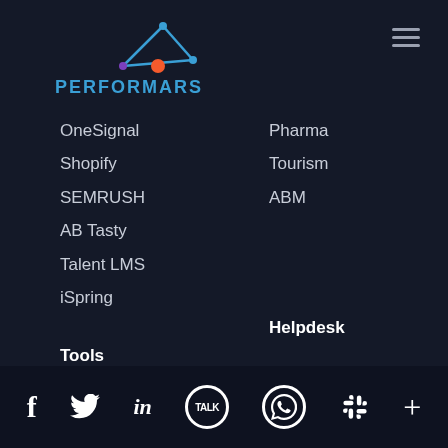[Figure (logo): Performars logo with geometric triangle/network graphic in blue and orange, with text PERFORMARS in blue below]
OneSignal
Pharma
Shopify
Tourism
SEMRUSH
ABM
AB Tasty
Talent LMS
iSpring
Tools
Helpdesk
Benchmark
Support
Bugetting
KB
f  Twitter  in  TALK  WhatsApp  Slack  +